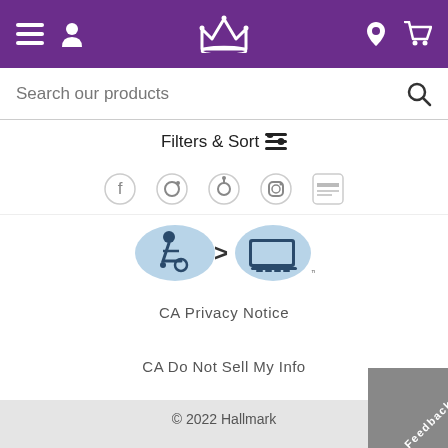Hallmark navigation header with hamburger menu, user icon, crown logo, location pin, and cart icon
Search our products
Filters & Sort ☰
[Figure (infographic): Row of social media icons: Facebook, Instagram, Pinterest, Instagram, and another social icon - partially visible, cropped]
[Figure (logo): Accessibility logo showing wheelchair user with greater-than arrow pointing to computer/laptop icon, indicating accessible technology]
CA Privacy Notice
CA Do Not Sell My Info
© 2022 Hallmark
Legal
Feedback